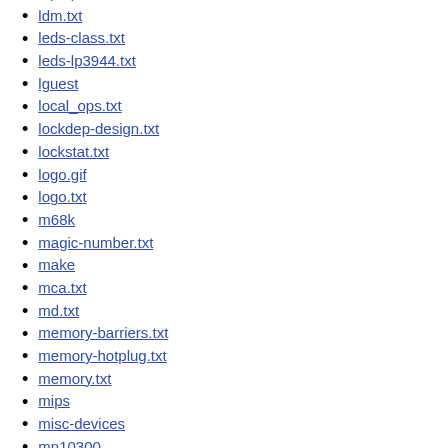laptops
ldm.txt
leds-class.txt
leds-lp3944.txt
lguest
local_ops.txt
lockdep-design.txt
lockstat.txt
logo.gif
logo.txt
m68k
magic-number.txt
make
mca.txt
md.txt
memory-barriers.txt
memory-hotplug.txt
memory.txt
mips
misc-devices
mn10300
mono.txt
mtd
mutex-design.txt
namespaces